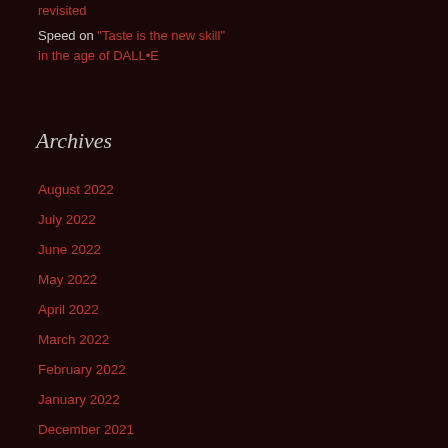revisited
Speed on "Taste is the new skill" in the age of DALL•E
Archives
August 2022
July 2022
June 2022
May 2022
April 2022
March 2022
February 2022
January 2022
December 2021